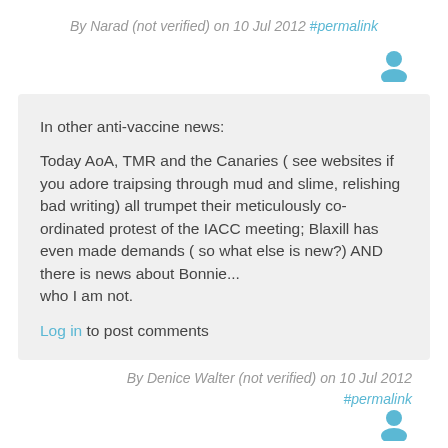By Narad (not verified) on 10 Jul 2012 #permalink
[Figure (illustration): User avatar icon (teal/blue person silhouette)]
In other anti-vaccine news:

Today AoA, TMR and the Canaries ( see websites if you adore traipsing through mud and slime, relishing bad writing) all trumpet their meticulously co-ordinated protest of the IACC meeting; Blaxill has even made demands ( so what else is new?) AND 
there is news about Bonnie...
who I am not.
Log in to post comments
By Denice Walter (not verified) on 10 Jul 2012 #permalink
[Figure (illustration): User avatar icon (teal/blue person silhouette)]